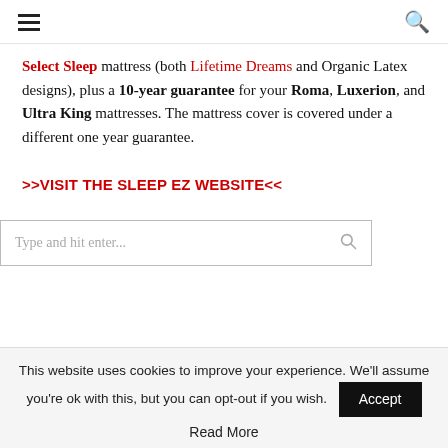[hamburger menu icon] [search icon]
Select Sleep mattress (both Lifetime Dreams and Organic Latex designs), plus a 10-year guarantee for your Roma, Luxerion, and Ultra King mattresses. The mattress cover is covered under a different one year guarantee.
>>VISIT THE SLEEP EZ WEBSITE<<
Type and hit enter...
This website uses cookies to improve your experience. We'll assume you're ok with this, but you can opt-out if you wish.
Accept
Read More